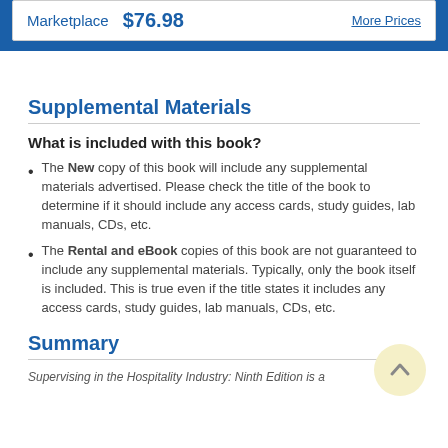Marketplace $76.98 More Prices
Supplemental Materials
What is included with this book?
The New copy of this book will include any supplemental materials advertised. Please check the title of the book to determine if it should include any access cards, study guides, lab manuals, CDs, etc.
The Rental and eBook copies of this book are not guaranteed to include any supplemental materials. Typically, only the book itself is included. This is true even if the title states it includes any access cards, study guides, lab manuals, CDs, etc.
Summary
Supervising in the Hospitality Industry: Ninth Edition is a